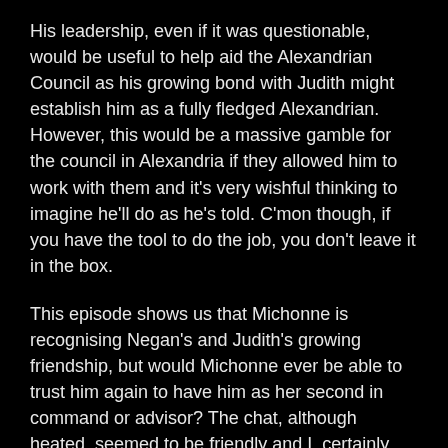His leadership, even if it was questionable, would be useful to help aid the Alexandrian Council as his growing bond with Judith might establish him as a fully fledged Alexandrian. However, this would be a massive gamble for the council in Alexandria if they allowed him to work with them and it's very wishful thinking to imagine he'll do as he's told. C'mon though, if you have the tool to do the job, you don't leave it in the box.
This episode shows us that Michonne is recognising Negan's and Judith's growing friendship, but would Michonne ever be able to trust him again to have him as her second in command or advisor? The chat, although heated, seemed to be friendly and I, certainly, can see them working well together.
Overall though, the episode in general was… Meh.